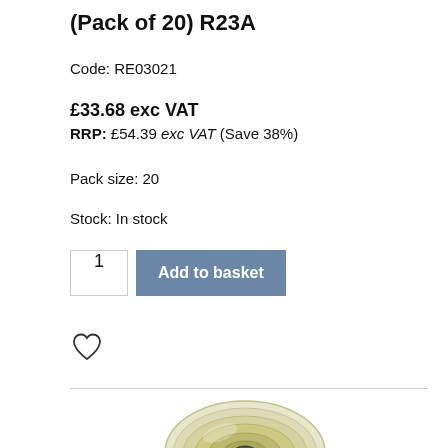(Pack of 20) R23A
Code: RE03021
£33.68 exc VAT
RRP: £54.39 exc VAT (Save 38%)
Pack size: 20
Stock: In stock
[Figure (other): Add to basket UI with quantity input showing '1' and a blue 'Add to basket' button]
[Figure (other): Heart/wishlist icon (outline heart shape)]
[Figure (photo): Photo of a thermal paper roll product, cream/yellow colored roll with black core, partially cropped at bottom of page]